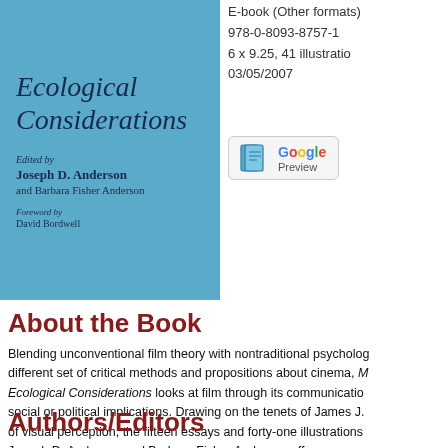[Figure (illustration): Book cover with blue background showing italic title 'Ecological Considerations', edited by Joseph D. Anderson and Barbara Fisher Anderson, Foreword by David Bordwell]
E-book (Other formats)
978-0-8093-8757-1
6 x 9.25, 41 illustrations
03/05/2007
[Figure (logo): Google Preview button with book icon and Google logo in multicolor]
About the Book
Blending unconventional film theory with nontraditional psychology, different set of critical methods and propositions about cinema, Moving Images and Ecological Considerations looks at film through its communication, social or political implications. Drawing on the tenets of James J. of visual perception, the fifteen essays and forty-one illustrations g Joseph D. Anderson and Barbara Fisher Anderson offer a new u
Authors/Editors